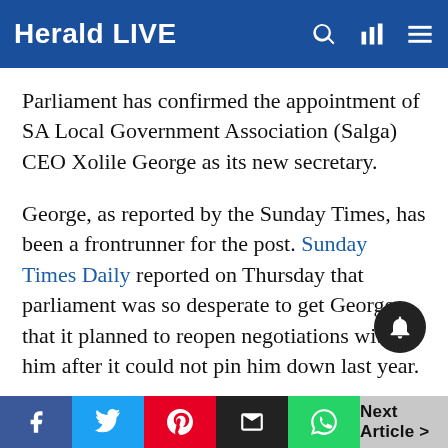Herald LIVE
Parliament has confirmed the appointment of SA Local Government Association (Salga) CEO Xolile George as its new secretary.
George, as reported by the Sunday Times, has been a frontrunner for the post. Sunday Times Daily reported on Thursday that parliament was so desperate to get George that it planned to reopen negotiations with him after it could not pin him down last year.
George, after the recruitment process in March last year, was parliament's preferred candidate for the top post, which effectively makes him